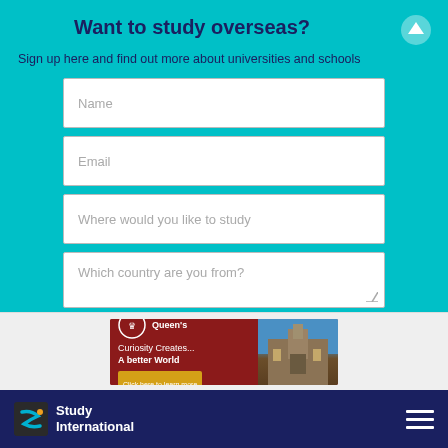Want to study overseas?
Sign up here and find out more about universities and schools
[Figure (screenshot): Web form with four input fields (Name, Email, Where would you like to study, Which country are you from?) and a Submit button on a teal background]
[Figure (screenshot): Queen's University banner ad: 'Curiosity Creates... A better World' with 'Click here to learn more' button and image of university building]
Study International